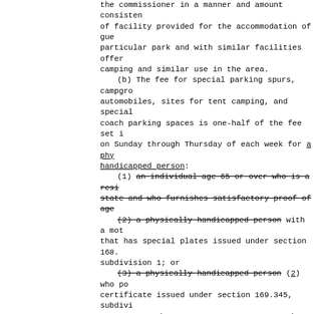the commissioner in a manner and amount consistent of facility provided for the accommodation of guests at that particular park and with similar facilities offering camping and similar use in the area.
    (b) The fee for special parking spurs, campgrounds for automobiles, sites for tent camping, and special motor coach parking spaces is one-half of the fee set in effect on Sunday through Thursday of each week for a physically handicapped person:
    (1) an individual age 65 or over who is a resident of this state and who furnishes satisfactory proof of age
    (2) a physically handicapped person with a motor vehicle that has special plates issued under section 168., subdivision 1; or
    (3) a physically handicapped person (2) who possesses a certificate issued under section 169.345, subdivision
    Sec. 44. Minnesota Statutes 2002, section 85., subdivision 1, is amended to read:
    Subdivision 1. [FORM, ISSUANCE, VALIDITY.] (a) The commissioner shall prepare and provide state park permits for each calendar year that state a motor vehicle may enter state parks, state recreation areas, and state waysides 50 acres in area. State park permits must be available and on sale by October January 1 of the year preceding the year that the permit is valid. A separate motorc